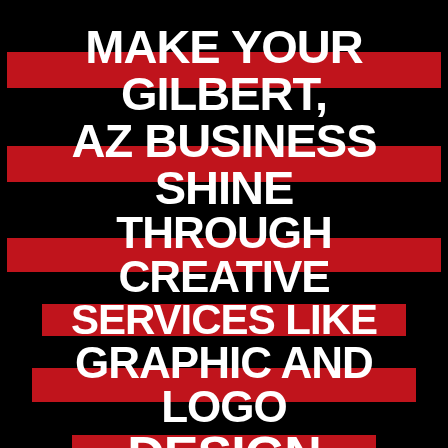MAKE YOUR GILBERT, AZ BUSINESS SHINE THROUGH CREATIVE SERVICES LIKE GRAPHIC AND LOGO DESIGN